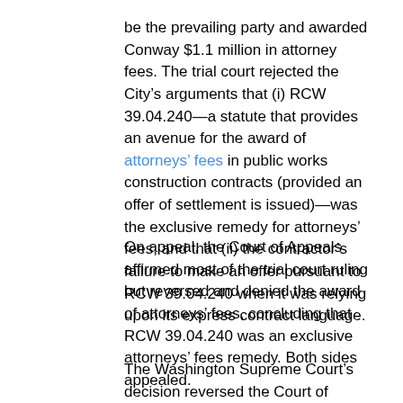be the prevailing party and awarded Conway $1.1 million in attorney fees. The trial court rejected the City's arguments that (i) RCW 39.04.240—a statute that provides an avenue for the award of attorneys' fees in public works construction contracts (provided an offer of settlement is issued)—was the exclusive remedy for attorneys' fees, and that (ii) the contractor's failure to make an offer pursuant to RCW 39.04.240 when it was relying upon its express contract language.
On appeal, the Court of Appeals affirmed most of the trial court ruling but reversed and denied the award of attorneys' fees, concluding that RCW 39.04.240 was an exclusive attorneys' fees remedy. Both sides appealed.
The Washington Supreme Court's decision reversed the Court of Appeals and provided three key decisions in favor of Conway:
Termination for Default: The Court affirmed the trial court's ruling that the default termination was improper, and held the contractor's termination was...